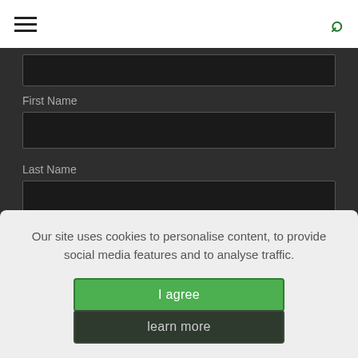Navigation header with hamburger menu and search icon
First Name
Last Name
Our site uses cookies to personalise content, to provide social media features and to analyse traffic.
I agree
learn more